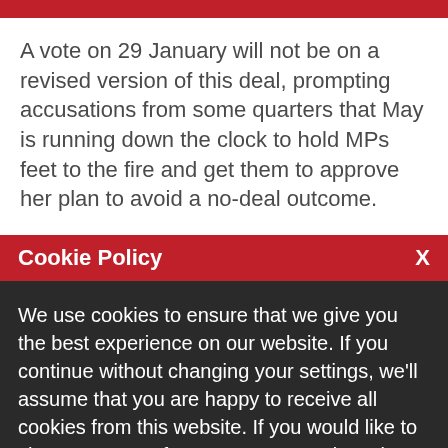A vote on 29 January will not be on a revised version of this deal, prompting accusations from some quarters that May is running down the clock to hold MPs feet to the fire and get them to approve her plan to avoid a no-deal outcome.
Instead it will be a 'neutral' motion to which backbenchers
Cookie Policy
We use cookies to ensure that we give you the best experience on our website. If you continue without changing your settings, we'll assume that you are happy to receive all cookies from this website. If you would like to change your preferences you may do so by following the instructions here.